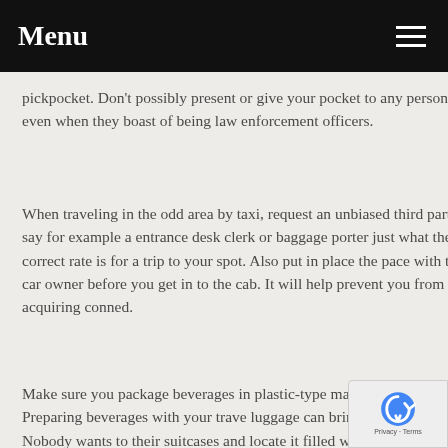Menu
pickpocket. Don't possibly present or give your pocket to any person, even when they boast of being law enforcement officers.
When traveling in the odd area by taxi, request an unbiased third party say for example a entrance desk clerk or baggage porter just what the correct rate is for a trip to your spot. Also put in place the pace with the car owner before you get in to the cab. It will help prevent you from acquiring conned.
Make sure you package beverages in plastic-type material totes. Preparing beverages with your travel luggage can bring about tragedy. Nobody wants to their suitcases and locate it filled with poured hair